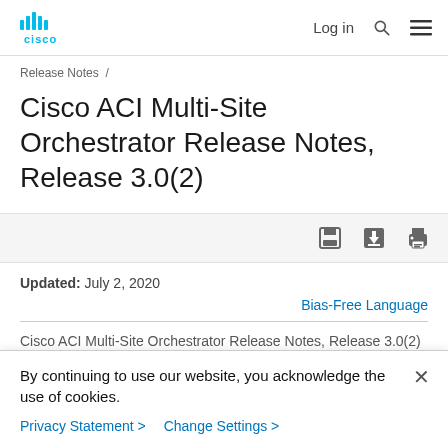Cisco logo | Log in | Search | Menu
Release Notes /
Cisco ACI Multi-Site Orchestrator Release Notes, Release 3.0(2)
[Figure (other): Toolbar with save, download, and print icons]
Updated: July 2, 2020
Bias-Free Language
Cisco ACI Multi-Site Orchestrator Release Notes, Release 3.0(2)
By continuing to use our website, you acknowledge the use of cookies.
Privacy Statement > Change Settings >